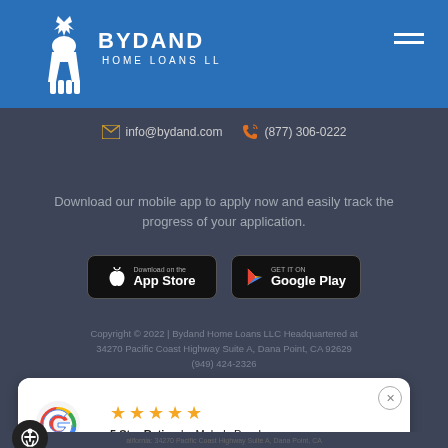[Figure (logo): Bydand Home Loans LLC logo — white deer with antlers and company name in white text on blue background]
info@bydand.com   (877) 306-0222
Download our mobile app to apply now and easily track the progress of your application.
[Figure (other): App Store download button (black rounded rectangle)]
[Figure (other): Google Play download button (black rounded rectangle)]
Copyright © 2022 | Bydand Home Loans LLC Headquartered at 34270 Pacific Coast Highway Suite A, Dana Point, CA 92629 (949) 424-2326
5 Star Rating by Melody Paschen
08/31/22